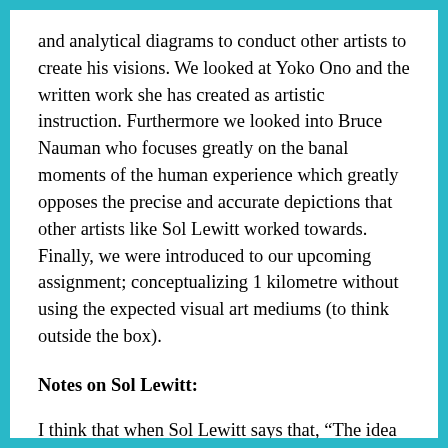and analytical diagrams to conduct other artists to create his visions. We looked at Yoko Ono and the written work she has created as artistic instruction. Furthermore we looked into Bruce Nauman who focuses greatly on the banal moments of the human experience which greatly opposes the precise and accurate depictions that other artists like Sol Lewitt worked towards. Finally, we were introduced to our upcoming assignment; conceptualizing 1 kilometre without using the expected visual art mediums (to think outside the box).
Notes on Sol Lewitt:
I think that when Sol Lewitt says that, “The idea becomes the machine that makes the art” he is referring to the way his conceptual creativity is what fuels and drives the hired artists physical skill and to what fuels and drives the...